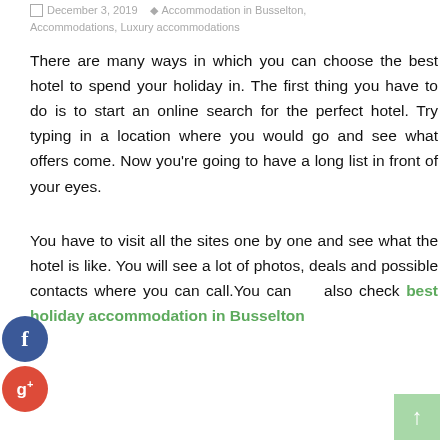December 3, 2019  Accommodation in Busselton, Accommodations, Luxury accommodations
There are many ways in which you can choose the best hotel to spend your holiday in. The first thing you have to do is to start an online search for the perfect hotel. Try typing in a location where you would go and see what offers come. Now you're going to have a long list in front of your eyes.
You have to visit all the sites one by one and see what the hotel is like. You will see a lot of photos, deals and possible contacts where you can call.You can also check best holiday accommodation in Busselton